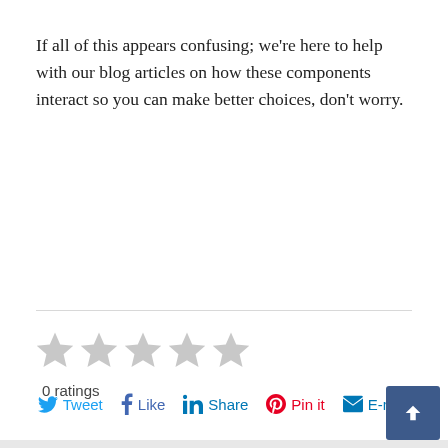If all of this appears confusing; we're here to help with our blog articles on how these components interact so you can make better choices, don't worry.
0 ratings
Tweet  Like  Share  Pin it  E-mail